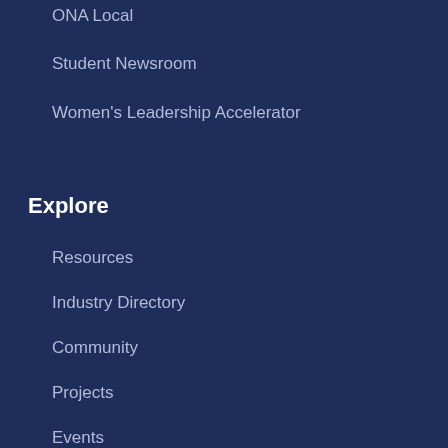ONA Local
Student Newsroom
Women's Leadership Accelerator
Explore
Resources
Industry Directory
Community
Projects
Events
Career Center
Online Journalism Awards
Get Involved